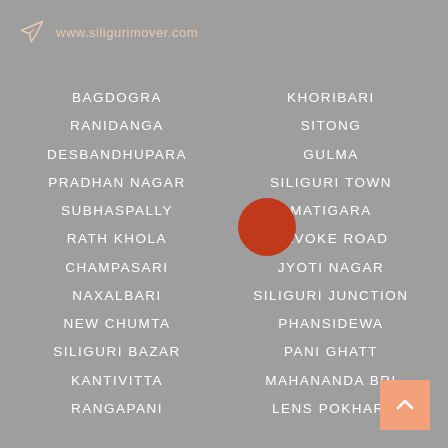www.siligurimover.com
BAGDOGRA
KHORIBARI
RANIDANGA
SITONG
DESBANDHUPARA
GULMA
PRADHAN NAGAR
SILIGURI TOWN
SUBHASPALLY
MATIGARA
RATH KHOLA
SEVOKE ROAD
CHAMPASARI
JYOTI NAGAR
NAXALBARI
SILIGURI JUNCTION
NEW CHUMTA
PHANSIDEWA
SILIGURI BAZAR
PANI GHATT
KANTIVITTA
MAHANANDA BRI
RANGAPANI
LENS POKHARI